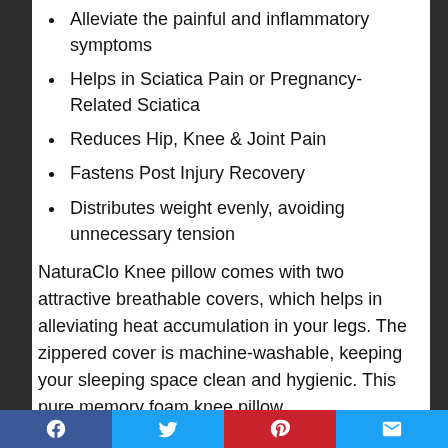Alleviate the painful and inflammatory symptoms
Helps in Sciatica Pain or Pregnancy-Related Sciatica
Reduces Hip, Knee & Joint Pain
Fastens Post Injury Recovery
Distributes weight evenly, avoiding unnecessary tension
NaturaClo Knee pillow comes with two attractive breathable covers, which helps in alleviating heat accumulation in your legs. The zippered cover is machine-washable, keeping your sleeping space clean and hygienic. This pure memory foam knee pillow